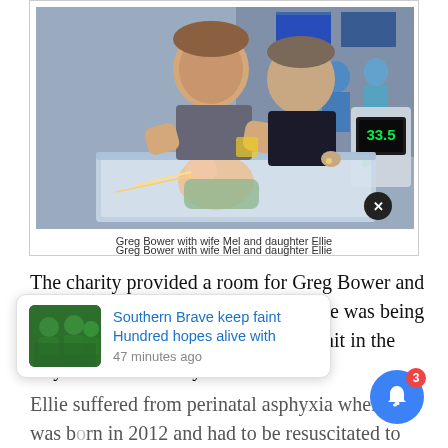[Figure (photo): Greg Bower and his wife Mel leaning over a hospital incubator holding their newborn daughter Ellie in a neonatal unit. Medical equipment visible in background including a display showing 33.5.]
Greg Bower with wife Mel and daughter Ellie
The charity provided a room for Greg Bower and his wife Mel when their daughter Ellie was being “frozen” in the Trevor Mann Baby Unit in the Royal Sussex County
[Figure (screenshot): A notification card overlay showing a thumbnail of green-clad players and text: 'Southern Brave keep faint Hundred hopes alive with' and '47 minutes ago']
Ellie suffered from perinatal asphyxia when she was born in 2012 and had to be resuscitated to start her heart